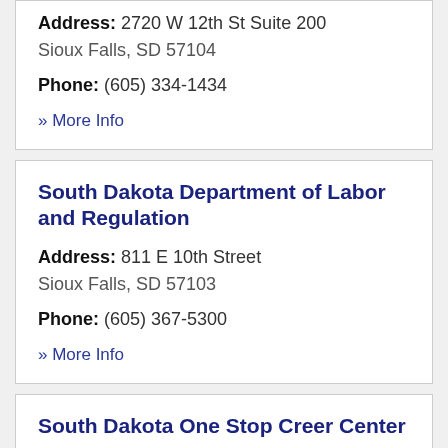Address: 2720 W 12th St Suite 200 Sioux Falls, SD 57104
Phone: (605) 334-1434
» More Info
South Dakota Department of Labor and Regulation
Address: 811 E 10th Street Sioux Falls, SD 57103
Phone: (605) 367-5300
» More Info
South Dakota One Stop Creer Center
Address: 811 East 10th Street, Dept. 41